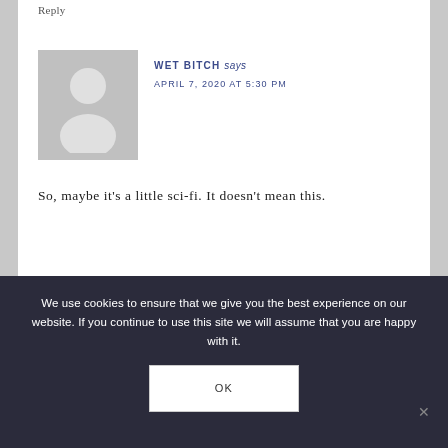Reply
WET BITCH says
APRIL 7, 2020 AT 5:30 PM
[Figure (illustration): Generic grey avatar placeholder with silhouette of a person (head and shoulders)]
So, maybe it's a little sci-fi. It doesn't mean this.
We use cookies to ensure that we give you the best experience on our website. If you continue to use this site we will assume that you are happy with it.
OK